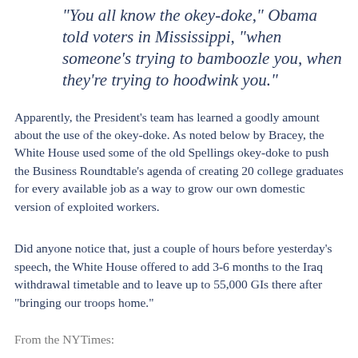"You all know the okey-doke," Obama told voters in Mississippi, "when someone's trying to bamboozle you, when they're trying to hoodwink you."
Apparently, the President's team has learned a goodly amount about the use of the okey-doke. As noted below by Bracey, the White House used some of the old Spellings okey-doke to push the Business Roundtable's agenda of creating 20 college graduates for every available job as a way to grow our own domestic version of exploited workers.
Did anyone notice that, just a couple of hours before yesterday's speech, the White House offered to add 3-6 months to the Iraq withdrawal timetable and to leave up to 55,000 GIs there after "bringing our troops home."
From the NYTimes:
. . . .In recent weeks, Mr. Gates and Adm. Mike Mullen, chairman of the Joint Chiefs of Staff, discussed the three withdrawal options . . . 16, 19 and